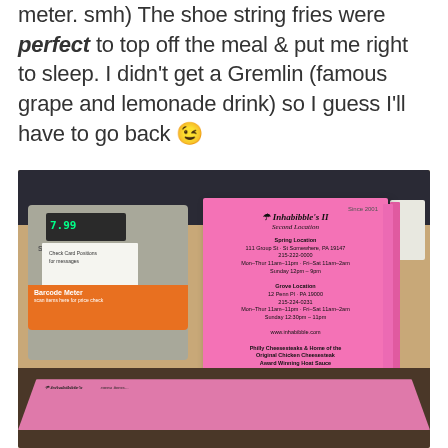meter. smh) The shoe string fries were perfect to top off the meal & put me right to sleep. I didn't get a Gremlin (famous grape and lemonade drink) so I guess I'll have to go back 😉
[Figure (photo): Photo of a restaurant counter showing a SHARP cash register machine and a pink menu/brochure holder displaying Inhabibble's II Second Location menus. Pink flat menus are also spread on the dark granite counter in the foreground.]